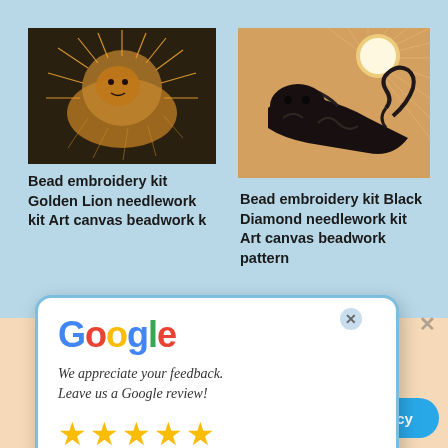[Figure (photo): Bead embroidery artwork of a Golden Lion — orange and brown thread/bead work on dark background]
Bead embroidery kit Golden Lion needlework kit Art canvas beadwork k...
[Figure (photo): Bead embroidery artwork of a Black Diamond — dark lion-like creature with swirling patterns on warm background]
Bead embroidery kit Black Diamond needlework kit Art canvas beadwork pattern
als
62.00 $
[Figure (screenshot): Google review popup dialog with Google logo, feedback request text, and 5 gold stars]
We appreciate your feedback. Leave us a Google review!
continuing to use the site, hese files.
Ok
Privacy policy